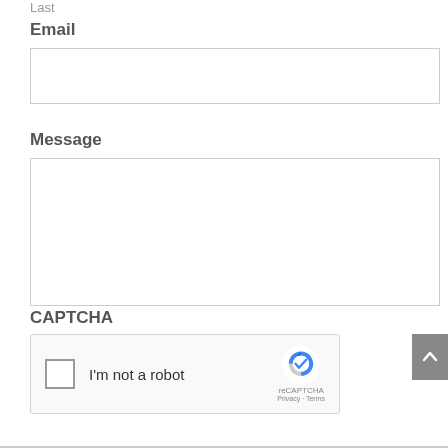Last
Email
[Figure (other): Empty email input text box]
Message
[Figure (other): Empty message textarea input box]
CAPTCHA
[Figure (other): reCAPTCHA widget with checkbox labeled I'm not a robot and reCAPTCHA logo with Privacy and Terms links]
[Figure (other): Scroll to top button with upward caret arrow]